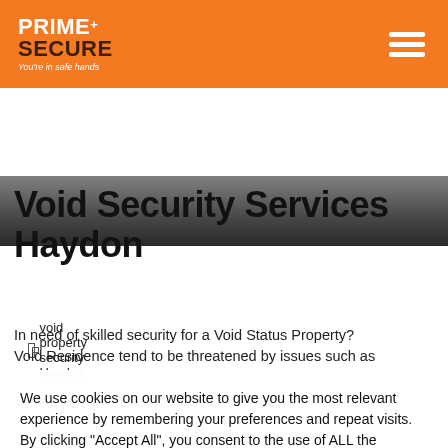PRIME+ SECURE You're in safe hands
[Figure (photo): Hero banner photo showing a person in a security or office setting, partially visible]
[Figure (photo): Broken image placeholder for void property security Haydon]
Void Security Services Haydon
In need of skilled security for a Void Status Property? Void Residence tend to be threatened by issues such as
We use cookies on our website to give you the most relevant experience by remembering your preferences and repeat visits. By clicking "Accept All", you consent to the use of ALL the cookies. However, you may visit "Cookie Settings" to provide a controlled consent.